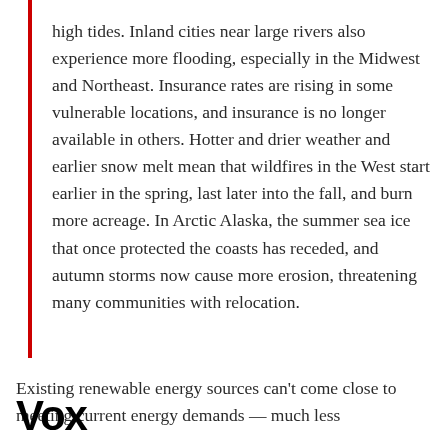high tides. Inland cities near large rivers also experience more flooding, especially in the Midwest and Northeast. Insurance rates are rising in some vulnerable locations, and insurance is no longer available in others. Hotter and drier weather and earlier snow melt mean that wildfires in the West start earlier in the spring, last later into the fall, and burn more acreage. In Arctic Alaska, the summer sea ice that once protected the coasts has receded, and autumn storms now cause more erosion, threatening many communities with relocation.
Existing renewable energy sources can't come close to meeting current energy demands — much less
[Figure (logo): Vox logo in bold black text]